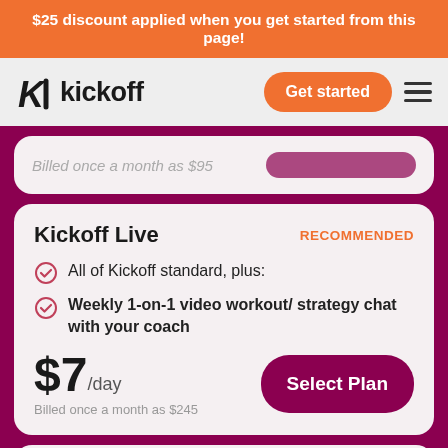$25 discount applied when you get started from this page!
[Figure (logo): Kickoff logo with stylized K icon and 'kickoff' wordmark, Get started button, and hamburger menu]
Billed once a month as $95
Kickoff Live
RECOMMENDED
All of Kickoff standard, plus:
Weekly 1-on-1 video workout/ strategy chat with your coach
$7/day
Billed once a month as $245